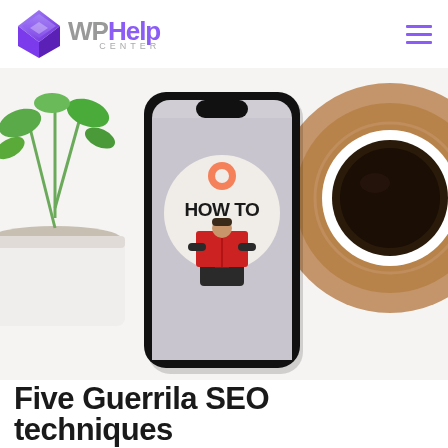WPHelp Center
[Figure (photo): Hero image showing a smartphone lying flat on a white surface displaying a 'HOW TO' graphic with a person reading a red book. A small plant in a white pot is visible in the top-left corner, and a coffee cup on a cork coaster is partially visible on the right side.]
Five Guerrila SEO techniques